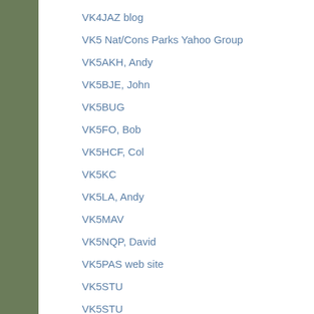VK4JAZ blog
VK5 Nat/Cons Parks Yahoo Group
VK5AKH, Andy
VK5BJE, John
VK5BUG
VK5FO, Bob
VK5HCF, Col
VK5KC
VK5LA, Andy
VK5MAV
VK5NQP, David
VK5PAS web site
VK5STU
VK5STU
VK6FCBG
VK6FMTG
VK6JON